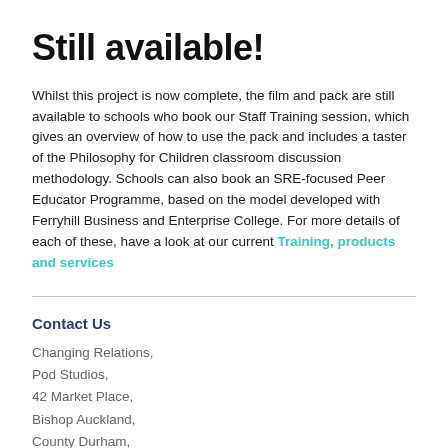Still available!
Whilst this project is now complete, the film and pack are still available to schools who book our Staff Training session, which gives an overview of how to use the pack and includes a taster of the Philosophy for Children classroom discussion methodology. Schools can also book an SRE-focused Peer Educator Programme, based on the model developed with Ferryhill Business and Enterprise College. For more details of each of these, have a look at our current Training, products and services
Contact Us
Changing Relations,
Pod Studios,
42 Market Place,
Bishop Auckland,
County Durham,
DL14 7PB